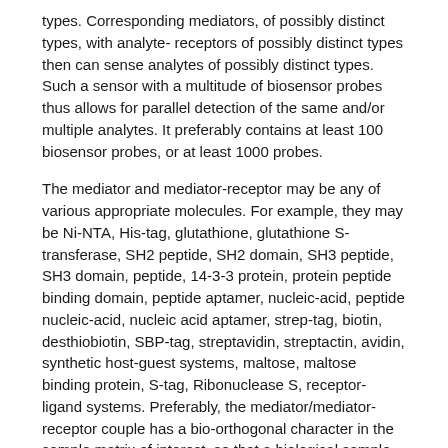types. Corresponding mediators, of possibly distinct types, with analyte- receptors of possibly distinct types then can sense analytes of possibly distinct types. Such a sensor with a multitude of biosensor probes thus allows for parallel detection of the same and/or multiple analytes. It preferably contains at least 100 biosensor probes, or at least 1000 probes.
The mediator and mediator-receptor may be any of various appropriate molecules. For example, they may be Ni-NTA, His-tag, glutathione, glutathione S-transferase, SH2 peptide, SH2 domain, SH3 peptide, SH3 domain, peptide, 14-3-3 protein, protein peptide binding domain, peptide aptamer, nucleic-acid, peptide nucleic-acid, nucleic acid aptamer, strep-tag, biotin, desthiobiotin, SBP-tag, streptavidin, streptactin, avidin, synthetic host-guest systems, maltose, maltose binding protein, S-tag, Ribonuclease S, receptor-ligand systems. Preferably, the mediator/mediator-receptor couple has a bio-orthogonal character in the sample matrix of interest, so that a biological sample will give minimal interference in the reference signal. It will be advantageous if the mediator can be site-selectively and with well-defined valency